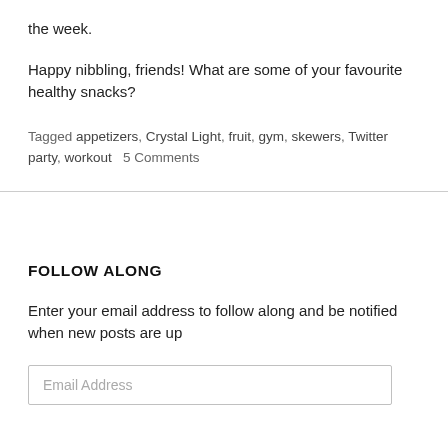the week.
Happy nibbling, friends! What are some of your favourite healthy snacks?
Tagged appetizers, Crystal Light, fruit, gym, skewers, Twitter party, workout   5 Comments
FOLLOW ALONG
Enter your email address to follow along and be notified when new posts are up
Email Address